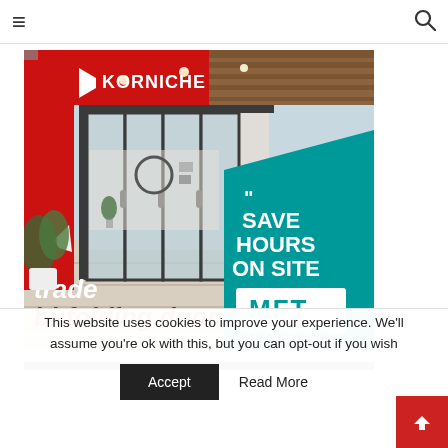Navigation bar with hamburger menu and search icon
[Figure (illustration): Korniche MFT trade bi-folding door advertisement. Red background top-left with KORNICHE logo in white. Photograph of modern home exterior with large grey aluminium bi-folding doors opening onto a patio. Teal/green section on right with white text: " SAVE HOURS ON SITE and MFT MADE FOR TRADE logo. Bottom-left red italic tick mark and white text 'trade bi-folding door'.]
This website uses cookies to improve your experience. We'll assume you're ok with this, but you can opt-out if you wish
Accept
Read More